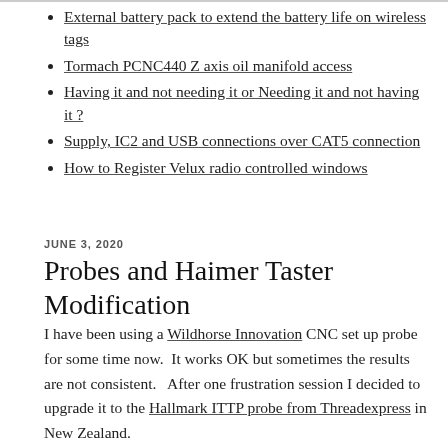External battery pack to extend the battery life on wireless tags
Tormach PCNC440 Z axis oil manifold access
Having it and not needing it or Needing it and not having it ?
Supply, IC2 and USB connections over CAT5 connection
How to Register Velux radio controlled windows
JUNE 3, 2020
Probes and Haimer Taster Modification
I have been using a Wildhorse Innovation CNC set up probe for some time now.  It works OK but sometimes the results are not consistent.   After one frustration session I decided to upgrade it to the Hallmark ITTP probe from Threadexpress in New Zealand.